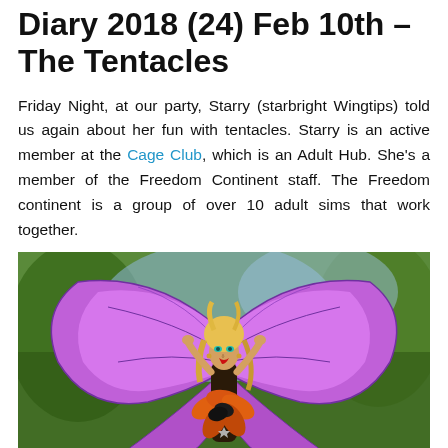Diary 2018 (24) Feb 10th – The Tentacles
Friday Night, at our party, Starry (starbright Wingtips) told us again about her fun with tentacles. Starry is an active member at the Cage Club, which is an Adult Hub. She's a member of the Freedom Continent staff. The Freedom continent is a group of over 10 adult sims that work together.
[Figure (photo): A screenshot from a virtual world (likely Second Life) showing an avatar with large purple butterfly wings, blonde hair, teal eyes, red lips, and an orange floral outfit, posed against a background of trees.]